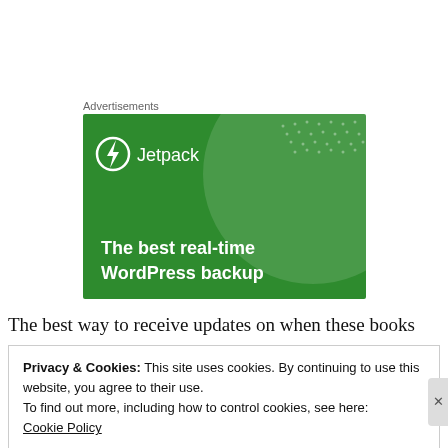Advertisements
[Figure (illustration): Jetpack advertisement banner with green background showing a large semi-transparent circle, white dot pattern, Jetpack logo (lightning bolt icon in circle with 'Jetpack' text), and bold white text reading 'The best real-time WordPress backup']
The best way to receive updates on when these books
Privacy & Cookies: This site uses cookies. By continuing to use this website, you agree to their use.
To find out more, including how to control cookies, see here:
Cookie Policy
Close and accept